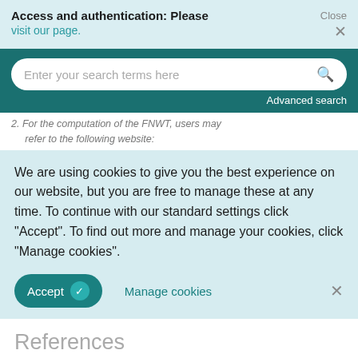Access and authentication: Please visit our page.
[Figure (screenshot): Search bar with text 'Enter your search terms here' and a magnifying glass icon on teal background, with 'Advanced search' link below]
2. For the computation of the FNWT, users may refer to the following website:
We are using cookies to give you the best experience on our website, but you are free to manage these at any time. To continue with our standard settings click "Accept". To find out more and manage your cookies, click "Manage cookies".
Accept   Manage cookies   ×
References